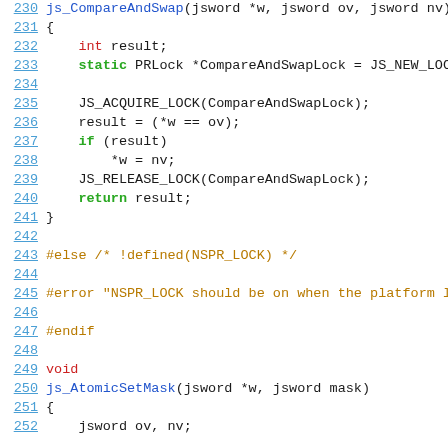[Figure (screenshot): Source code listing showing C/C++ code for js_CompareAndSwap and js_AtomicSetMask functions with line numbers 230-252, syntax highlighted in multiple colors on white background]